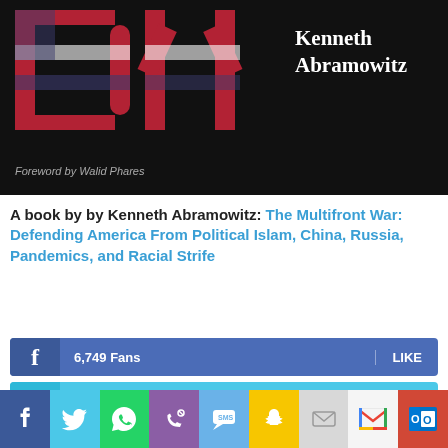[Figure (photo): Book cover of 'The Multifront War' by Kenneth Abramowitz. Dark background with large stylized letters designed with American flag pattern (red, white, blue stripes and stars). Author name 'Kenneth Abramowitz' in white serif font on right side. Text 'Foreword by Walid Phares' at bottom left in gray.]
A book by by Kenneth Abramowitz: The Multifront War: Defending America From Political Islam, China, Russia, Pandemics, and Racial Strife
6,749  Fans   LIKE
4,658  Followers   FOLLOW
STW VIDEO PICKS
[Figure (screenshot): Social media sharing toolbar at the bottom with icons for Facebook, Twitter, WhatsApp, Phone, SMS, Snapchat, Email, Gmail, and Outlook]